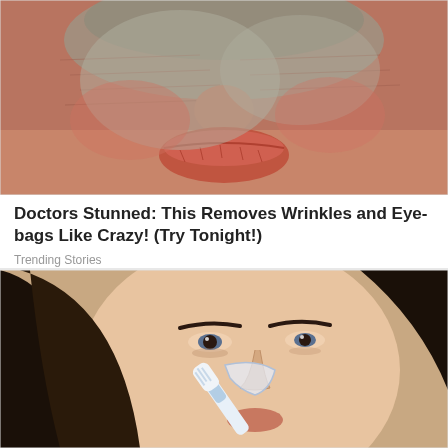[Figure (photo): Close-up photo of a face with wrinkled, textured skin showing nose and lips area with a clay or grey mask applied]
Doctors Stunned: This Removes Wrinkles and Eye-bags Like Crazy! (Try Tonight!)
Trending Stories
[Figure (photo): Young woman with dark hair holding a toothbrush near her nose, appearing to demonstrate a beauty or skincare tip]